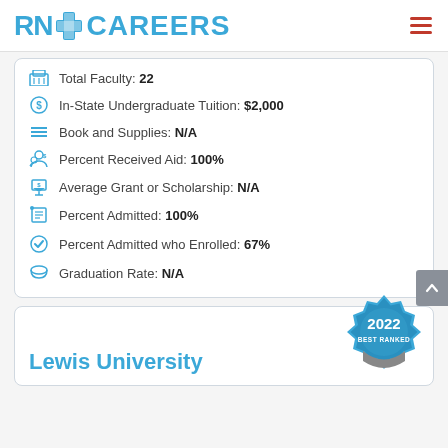RN+ CAREERS
Total Faculty: 22
In-State Undergraduate Tuition: $2,000
Book and Supplies: N/A
Percent Received Aid: 100%
Average Grant or Scholarship: N/A
Percent Admitted: 100%
Percent Admitted who Enrolled: 67%
Graduation Rate: N/A
Lewis University
[Figure (illustration): 2022 Best Ranked badge/seal in blue and grey]